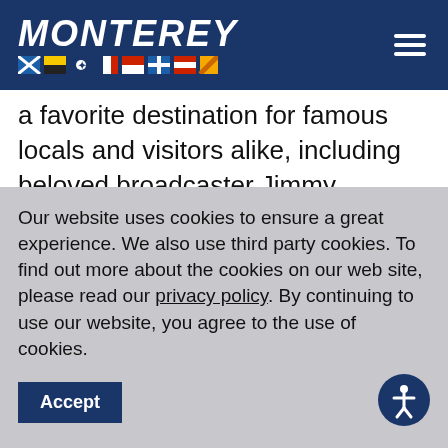MONTEREY
a favorite destination for famous locals and visitors alike, including beloved broadcaster Jimmy Johnson. In 2016, the famous football coach told Sport Fishing about how he developed a love for diving and fishing after beginning his coaching tenure at the University of Miami. He calls Islamorada
Our website uses cookies to ensure a great experience. We also use third party cookies. To find out more about the cookies on our web site, please read our privacy policy. By continuing to use our website, you agree to the use of cookies.
Accept